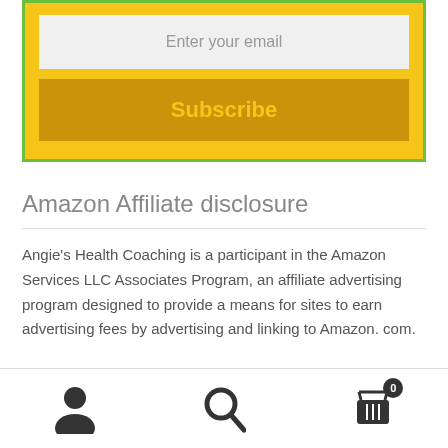[Figure (other): Email subscription widget with a text input field labeled 'Enter your email' and a yellow Subscribe button, set inside a yellow box with green border]
Amazon Affiliate disclosure
Angie’s Health Coaching is a participant in the Amazon Services LLC Associates Program, an affiliate advertising program designed to provide a means for sites to earn advertising fees by advertising and linking to Amazon. com.
[Figure (other): Bottom navigation bar with three icons: person/account icon, search magnifying glass icon, and shopping cart icon with badge showing 0]